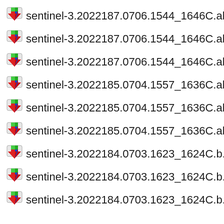sentinel-3.2022187.0706.1544_1646C.ab.L3.TX
sentinel-3.2022187.0706.1544_1646C.ab.L3.TX
sentinel-3.2022187.0706.1544_1646C.ab.L3.TX
sentinel-3.2022185.0704.1557_1636C.ab.L3.TX
sentinel-3.2022185.0704.1557_1636C.ab.L3.TX
sentinel-3.2022185.0704.1557_1636C.ab.L3.TX
sentinel-3.2022184.0703.1623_1624C.b.L3.TXL
sentinel-3.2022184.0703.1623_1624C.b.L3.TXL
sentinel-3.2022184.0703.1623_1624C.b.L3.TXL